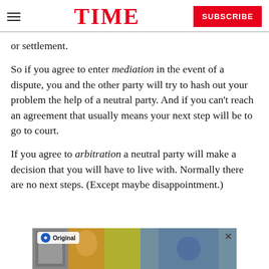TIME — SUBSCRIBE
or settlement.
So if you agree to enter mediation in the event of a dispute, you and the other party will try to hash out your problem the help of a neutral party. And if you can't reach an agreement that usually means your next step will be to go to court.
If you agree to arbitration a neutral party will make a decision that you will have to live with. Normally there are no next steps. (Except maybe disappointment.)
[Figure (other): Advertisement banner at the bottom of the page showing a Paramount Original ad with photo collage of people and scenes, with a close button X.]